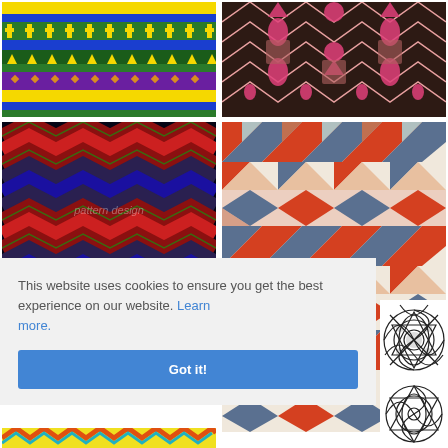[Figure (illustration): Aztec/tribal pattern with yellow cactus shapes, green and blue stripes on dark background]
[Figure (illustration): Pink and magenta geometric tribal pattern on dark brown/black background]
[Figure (illustration): Chevron zigzag pattern in red, blue, dark on black background with 'pattern design' watermark]
[Figure (illustration): Geometric tribal pattern in orange, blue, beige with triangles and diamonds, watermark visible]
[Figure (illustration): Partial black and white intricate mandala/ornamental pattern]
[Figure (illustration): Colorful zigzag/tribal pattern in orange, teal, yellow at bottom left (partial)]
[Figure (illustration): Black and white ornamental mandala pattern at bottom right (partial)]
This website uses cookies to ensure you get the best experience on our website. Learn more.
Got it!